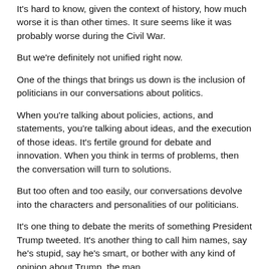It's hard to know, given the context of history, how much worse it is than other times. It sure seems like it was probably worse during the Civil War.
But we're definitely not unified right now.
One of the things that brings us down is the inclusion of politicians in our conversations about politics.
When you're talking about policies, actions, and statements, you're talking about ideas, and the execution of those ideas. It's fertile ground for debate and innovation. When you think in terms of problems, then the conversation will turn to solutions.
But too often and too easily, our conversations devolve into the characters and personalities of our politicians.
It's one thing to debate the merits of something President Trump tweeted. It's another thing to call him names, say he's stupid, say he's smart, or bother with any kind of opinion about Trump, the man.
We don't know him. We don't know what's in his heart. We don't know what's in his mind. We don't know his motivations. We don't know what he knows. We don't know what kind of information he has that we don't.
To talk about Trump, Obama, Hillary, McConnell, Cruz, Pelosi, and the endless list of political figures at all national, state, and local levels is